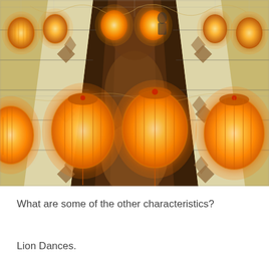[Figure (photo): Overhead or angled view of an indoor corridor or mall with Chinese paper lanterns hanging from the ceiling, glowing orange/amber. The floor features decorative tiles with geometric patterns in beige/cream and brown. The corridor recedes into the distance with lanterns hanging in rows on both sides.]
What are some of the other characteristics?
Lion Dances.